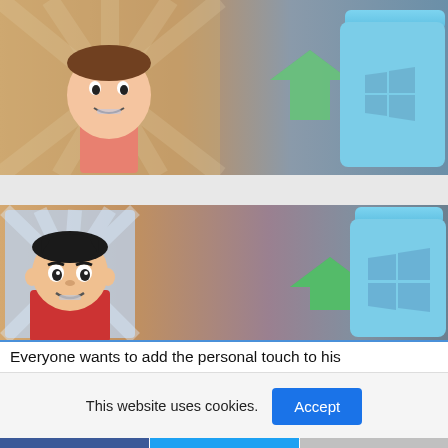[Figure (screenshot): Top portion of a tutorial screenshot showing a cartoon avatar (smiling boy with red shirt, blue background with rays) on the left, a green arrow pointing right toward a blue Windows folder icon on the right, against a warm gradient background.]
[Figure (screenshot): Main screenshot showing a cartoon male avatar (dark-haired boy in red shirt, blue striped background) on the left, a large green arrow pointing left, and a large blue Windows folder icon on the right, all on a warm peach-to-blue gradient background.]
Everyone wants to add the personal touch to his
This website uses cookies.
[Figure (screenshot): Cookie consent bar with text 'This website uses cookies.' and a blue Accept button.]
[Figure (screenshot): Social sharing bar at the bottom with Facebook (blue), Twitter (blue), and Gmail/email (gray) icons.]